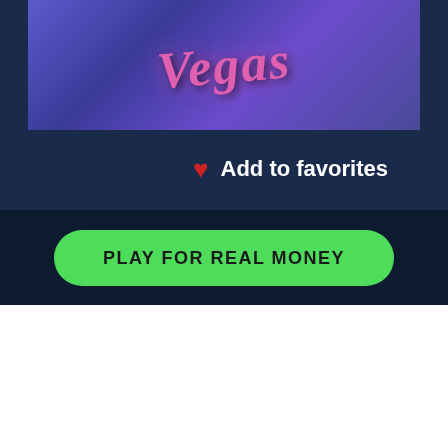[Figure (screenshot): Casino slot game image showing Vegas-themed logo with pink stylized text on purple/blue background]
Add to favorites
PLAY FOR REAL MONEY
RECOMMENDED ONLINE SLOTS
Ice Valley mo
7s Wild
White O